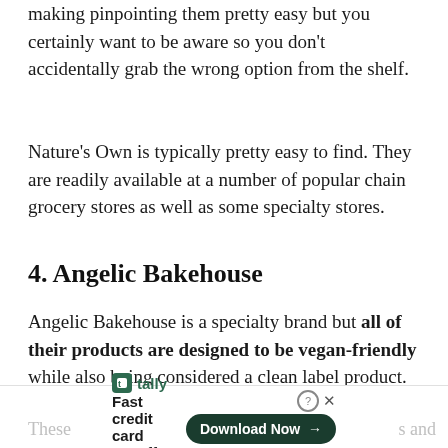making pinpointing them pretty easy but you certainly want to be aware so you don't accidentally grab the wrong option from the shelf.
Nature's Own is typically pretty easy to find. They are readily available at a number of popular chain grocery stores as well as some specialty stores.
4. Angelic Bakehouse
Angelic Bakehouse is a specialty brand but all of their products are designed to be vegan-friendly while also being considered a clean label product. They don't contain GMOs either, so that's an awesome bonus!
These … s and